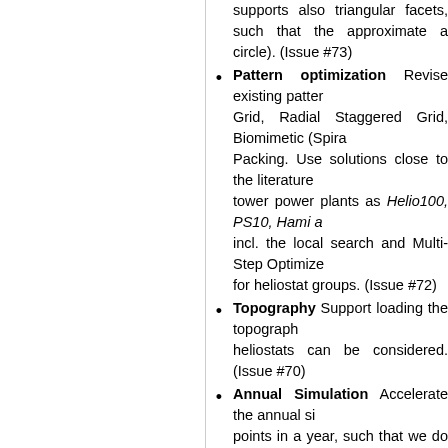supports also triangular facets, such that the approximate a circle). (Issue #73)
Pattern optimization Revise existing pattern Grid, Radial Staggered Grid, Biomimetic (Spiral Packing. Use solutions close to the literature tower power plants as Helio100, PS10, Hami a incl. the local search and Multi-Step Optimize for heliostat groups. (Issue #72)
Topography Support loading the topography heliostats can be considered. (Issue #70)
Annual Simulation Accelerate the annual simulation points in a year, such that we do not simulate t
Multiple receivers Towers can have several considered one receiver. Implement this feature solution using different receivers. (Issue #43)
Storage Strategy The thermal power can b Implement two methods, the buffer strategy a hot fluid in an optimal way, considering a day a
Optimal Cabling Support also solar field wh